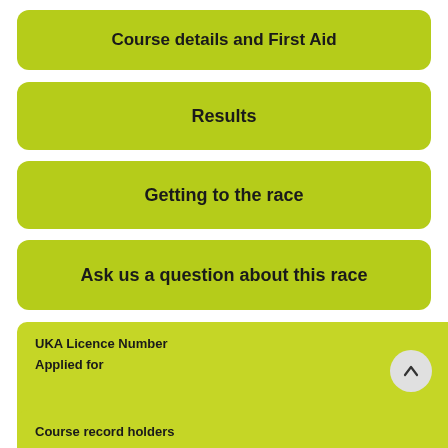Course details and First Aid
Results
Getting to the race
Ask us a question about this race
UKA Licence Number
Applied for
Course record holders